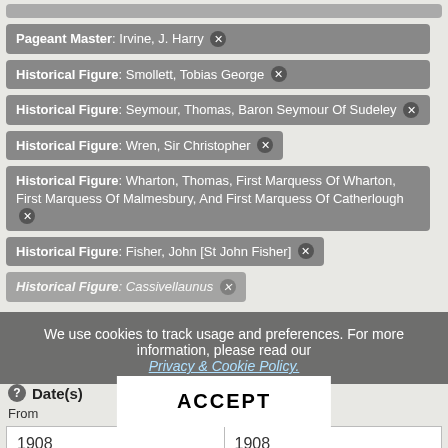Pageant Master: Irvine, J. Harry ✕
Historical Figure: Smollett, Tobias George ✕
Historical Figure: Seymour, Thomas, Baron Seymour Of Sudeley ✕
Historical Figure: Wren, Sir Christopher ✕
Historical Figure: Wharton, Thomas, First Marquess Of Wharton, First Marquess Of Malmesbury, And First Marquess Of Catherlough ✕
Historical Figure: Fisher, John [St John Fisher] ✕
Historical Figure: Cassivellaunus ✕
We use cookies to track usage and preferences. For more information, please read our Privacy & Cookie Policy.
ACCEPT
Date(s)
From
|  |  |
| --- | --- |
| 1908 | 1908 |